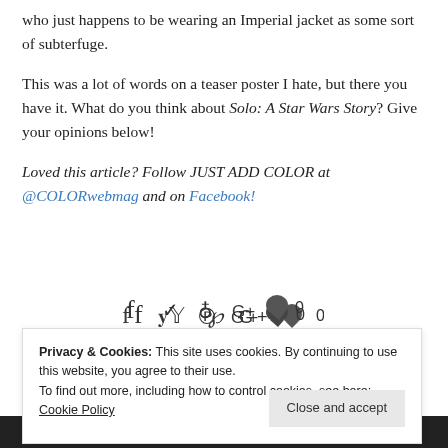who just happens to be wearing an Imperial jacket as some sort of subterfuge.
This was a lot of words on a teaser poster I hate, but there you have it. What do you think about Solo: A Star Wars Story? Give your opinions below!
Loved this article? Follow JUST ADD COLOR at @COLORwebmag and on Facebook!
[Figure (other): Social share icons: Facebook, Twitter, Pinterest, Google+, and comment count showing 0]
Privacy & Cookies: This site uses cookies. By continuing to use this website, you agree to their use. To find out more, including how to control cookies, see here: Cookie Policy
Afrofuturistic film 'Brown Girl Begins' coming to